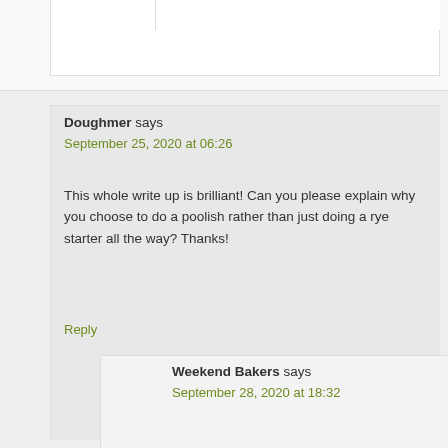Doughmer says
September 25, 2020 at 06:26
This whole write up is brilliant! Can you please explain why you choose to do a poolish rather than just doing a rye starter all the way? Thanks!
Reply
Weekend Bakers says
September 28, 2020 at 18:32